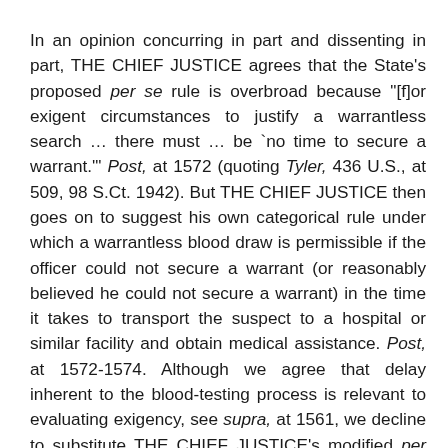In an opinion concurring in part and dissenting in part, THE CHIEF JUSTICE agrees that the State's proposed per se rule is overbroad because "[f]or exigent circumstances to justify a warrantless search … there must … be `no time to secure a warrant.'" Post, at 1572 (quoting Tyler, 436 U.S., at 509, 98 S.Ct. 1942). But THE CHIEF JUSTICE then goes on to suggest his own categorical rule under which a warrantless blood draw is permissible if the officer could not secure a warrant (or reasonably believed he could not secure a warrant) in the time it takes to transport the suspect to a hospital or similar facility and obtain medical assistance. Post, at 1572-1574. Although we agree that delay inherent to the blood-testing process is relevant to evaluating exigency, see supra, at 1561, we decline to substitute THE CHIEF JUSTICE's modified per se rule for our traditional totality of the circumstances analysis.
For one thing, making exigency completely dependent on the